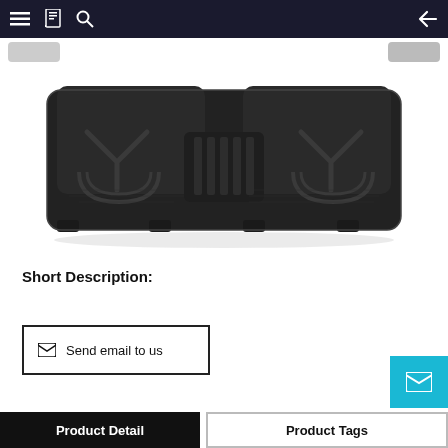Navigation bar with menu, catalog, search icons and back arrow
[Figure (photo): Black rubber automotive floor mat (rear row), two-piece style with raised ridges and channel patterns, viewed from above on white background]
Short Description:
Send email to us
Product Detail
Product Tags